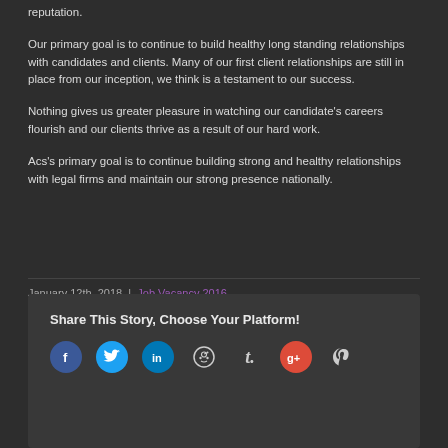reputation.
Our primary goal is to continue to build healthy long standing relationships with candidates and clients. Many of our first client relationships are still in place from our inception, we think is a testament to our success.
Nothing gives us greater pleasure in watching our candidate's careers flourish and our clients thrive as a result of our hard work.
Acs's primary goal is to continue building strong and healthy relationships with legal firms and maintain our strong presence nationally.
January 12th, 2018  |  Job Vacancy 2016
Share This Story, Choose Your Platform!